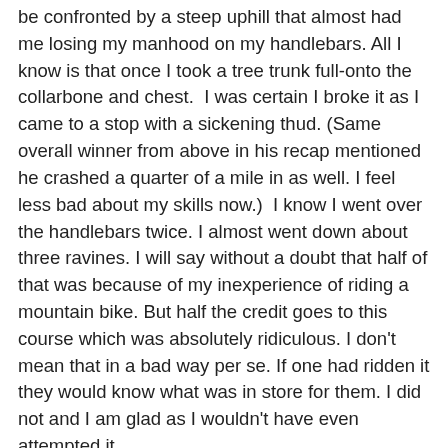be confronted by a steep uphill that almost had me losing my manhood on my handlebars. All I know is that once I took a tree trunk full-onto the collarbone and chest.  I was certain I broke it as I came to a stop with a sickening thud. (Same overall winner from above in his recap mentioned he crashed a quarter of a mile in as well. I feel less bad about my skills now.)  I know I went over the handlebars twice. I almost went down about three ravines. I will say without a doubt that half of that was because of my inexperience of riding a mountain bike. But half the credit goes to this course which was absolutely ridiculous. I don't mean that in a bad way per se. If one had ridden it they would know what was in store for them. I did not and I am glad as I wouldn't have even attempted it.
After about the 30th rider who passed me (seriously) where I either had to pull over or just stayed over after a crash, I was beginning to wonder what I was doing out here. I thought perhaps I could just take it easy and go slow and make it out alive. The problem was that even taking it slow was dangerous. On one particular hill, I had pulled over after almost crashing and five cyclists went by in rapid succession. The third one, for whatever reason, dove the hill...